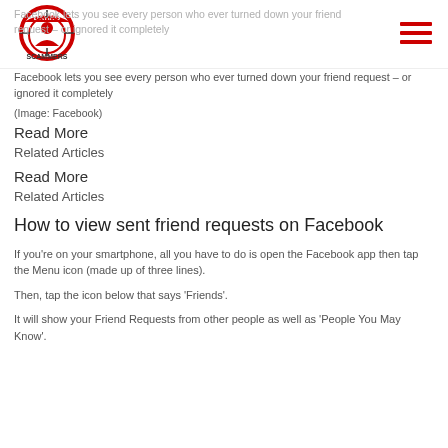Dating Scammers
You can easily take a look at this list on the Facebook mobile app on via desktop Facebook page as well.
Facebook lets you see every person who ever turned down your friend request – or ignored it completely
(Image: Facebook)
Read More
Related Articles
Read More
Related Articles
How to view sent friend requests on Facebook
If you're on your smartphone, all you have to do is open the Facebook app then tap the Menu icon (made up of three lines).
Then, tap the icon below that says 'Friends'.
It will show your Friend Requests from other people as well as 'People You May Know'.